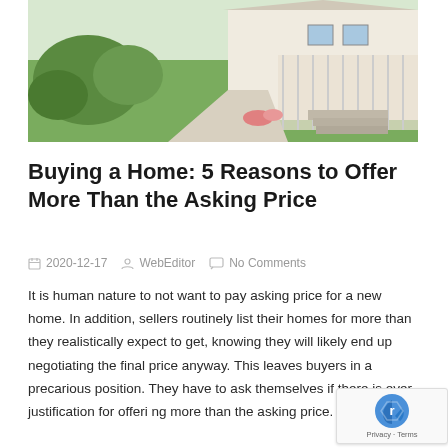[Figure (photo): Exterior photo of a residential home with a walkway, green lawn, and steps leading to a white-trimmed porch with flowers]
Buying a Home: 5 Reasons to Offer More Than the Asking Price
2020-12-17  WebEditor  No Comments
It is human nature to not want to pay asking price for a new home. In addition, sellers routinely list their homes for more than they realistically expect to get, knowing they will likely end up negotiating the final price anyway. This leaves buyers in a precarious position. They have to ask themselves if there is ever justification for offering more than the asking price.